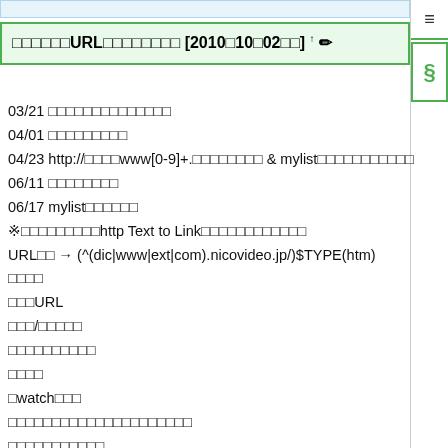コメント内のURLを自動リンクにする [2010年10月02日現在]
03/21 コメント内URLの自動リンク化を延期
04/01 URLの自動リンク化
04/23 http://先頭がwww[0-9]+.のURLも対象に & mylistのURLも自動リンク化対象に
06/11 仕様を確認した
06/17 mylistの仕様を確認
※ニコニコ動画内のhttp Text to Linkのルールについてまとめてみました
URL式 → (^(dic|www|ext|com).nicovideo.jp/)$TYPE(htm)
対象形式
対象URL
動画/マイリスト
コメントへの影響
対象外
/watchページ
上記のリンクが自動リンクになっているか確認
コメントへの確認
対象外(extページ)
関連動画欄